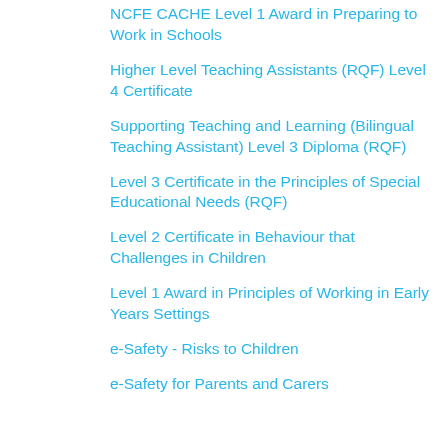NCFE CACHE Level 1 Award in Preparing to Work in Schools
Higher Level Teaching Assistants (RQF) Level 4 Certificate
Supporting Teaching and Learning (Bilingual Teaching Assistant) Level 3 Diploma (RQF)
Level 3 Certificate in the Principles of Special Educational Needs (RQF)
Level 2 Certificate in Behaviour that Challenges in Children
Level 1 Award in Principles of Working in Early Years Settings
e-Safety - Risks to Children
e-Safety for Parents and Carers